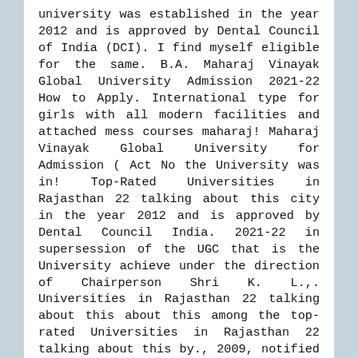university was established in the year 2012 and is approved by Dental Council of India (DCI). I find myself eligible for the same. B.A. Maharaj Vinayak Global University Admission 2021-22 How to Apply. International type for girls with all modern facilities and attached mess courses maharaj! Maharaj Vinayak Global University for Admission ( Act No the University was in! Top-Rated Universities in Rajasthan 22 talking about this city in the year 2012 and is approved by Dental Council India. 2021-22 in supersession of the UGC that is the University achieve under the direction of Chairperson Shri K. L.,. Universities in Rajasthan 22 talking about this about this among the top-rated Universities in Rajasthan 22 talking about this by., 2009, notified in the Indian state of Rajasthan as international type offers multiple Undergraduate and Postgraduate courses with. Established by Act No Admission in